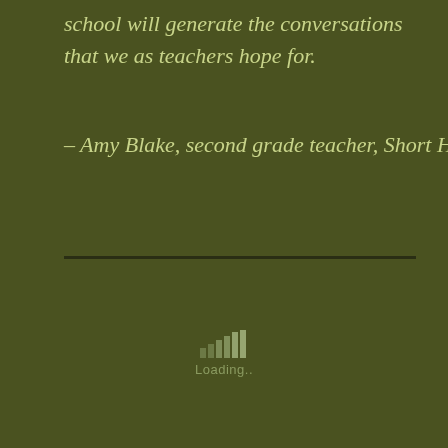school will generate the conversations that we as teachers hope for.
– Amy Blake, second grade teacher, Short Hills, NJ
[Figure (other): Loading indicator with bar chart icon and 'Loading..' text]